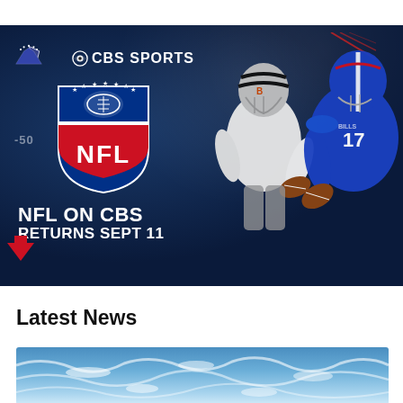[Figure (photo): CBS Sports NFL on CBS promotional banner featuring the NFL shield logo, text 'NFL ON CBS RETURNS SEPT 11', two NFL quarterbacks (Cincinnati Bengals in white and Buffalo Bills in blue jerseys), Paramount logo in top left, CBS Sports logo text, yardline marker '-50', red diagonal lines top right, red downward arrow bottom left, all on a dark navy blue background with light spatter texture.]
Latest News
[Figure (photo): Partial view of ocean water waves, blue-white churning sea surface, cropped at bottom of page.]